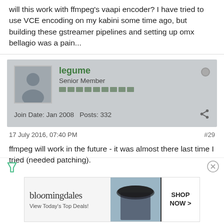will this work with ffmpeg's vaapi encoder? I have tried to use VCE encoding on my kabini some time ago, but building these gstreamer pipelines and setting up omx bellagio was a pain...
legume
Senior Member
Join Date: Jan 2008   Posts: 332
17 July 2016, 07:40 PM
#29
ffmpeg will work in the future - it was almost there last time I tried (needed patching).
[Figure (screenshot): Bloomingdale's advertisement banner: 'bloomingdales View Today's Top Deals!' with SHOP NOW > button]